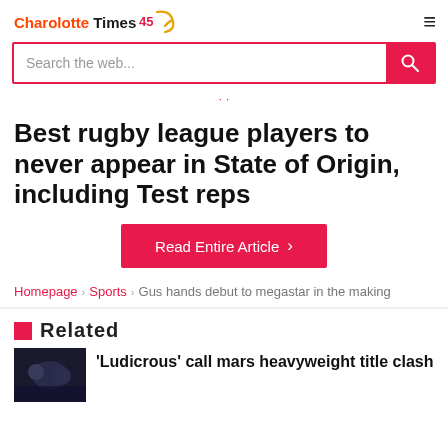Charolotte Times 45
Search the web...
Best rugby league players to never appear in State of Origin, including Test reps
Read Entire Article >
Homepage › Sports › Gus hands debut to megastar in the making
Related
'Ludicrous' call mars heavyweight title clash